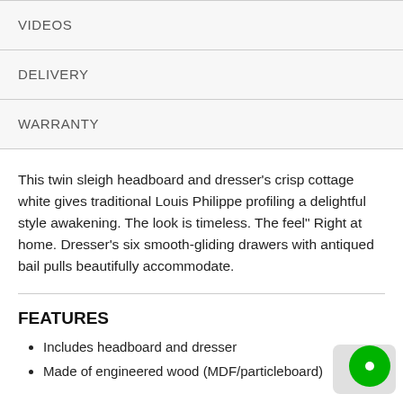VIDEOS
DELIVERY
WARRANTY
This twin sleigh headboard and dresser's crisp cottage white gives traditional Louis Philippe profiling a delightful style awakening. The look is timeless. The feel" Right at home. Dresser's six smooth-gliding drawers with antiqued bail pulls beautifully accommodate.
FEATURES
Includes headboard and dresser
Made of engineered wood (MDF/particleboard)